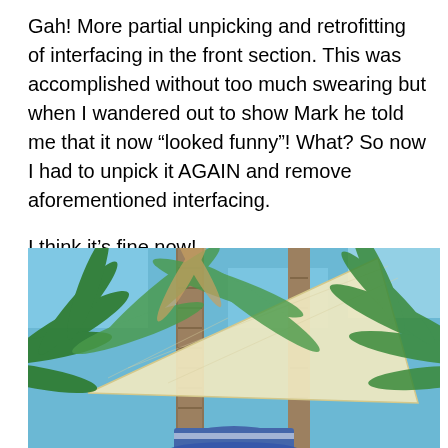Gah! More partial unpicking and retrofitting of interfacing in the front section. This was accomplished without too much swearing but when I wandered out to show Mark he told me that it now “looked funny”! What? So now I had to unpick it AGAIN and remove aforementioned interfacing.

I think it’s fine now!
[Figure (photo): Outdoor photo looking up at palm trees against a blue sky, with a triangular cream/yellow shade sail stretched between the trees. The top of a person wearing a blue and white hat is visible at the bottom center of the image.]